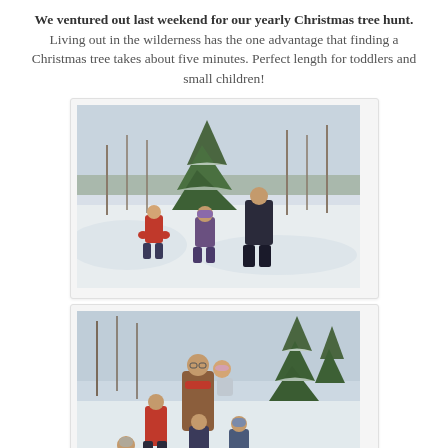We ventured out last weekend for our yearly Christmas tree hunt. Living out in the wilderness has the one advantage that finding a Christmas tree takes about five minutes. Perfect length for toddlers and small children!
[Figure (photo): Outdoor winter scene showing children in snow-covered wilderness among small evergreen trees, wearing winter clothing in red and dark colors.]
[Figure (photo): Family group photo in snowy forest with mother holding a young child and several children around her, surrounded by snow-covered evergreen trees.]